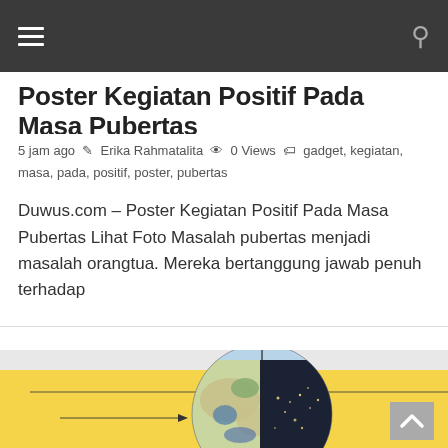Navigation bar with hamburger menu and search icon
Poster Kegiatan Positif Pada Masa Pubertas
5 jam ago  Erika Rahmatalita  0 Views  gadget, kegiatan, masa, pada, positif, poster, pubertas
Duwus.com – Poster Kegiatan Positif Pada Masa Pubertas Lihat Foto Masalah pubertas menjadi masalah orangtua. Mereka bertanggung jawab penuh terhadap
[Figure (illustration): Illustration of a globe (Earth) partially lit and partially dark, on a yellow background, with crosshair lines and an arrow pointing to the globe. A back-to-top chevron button is visible in the bottom right corner.]